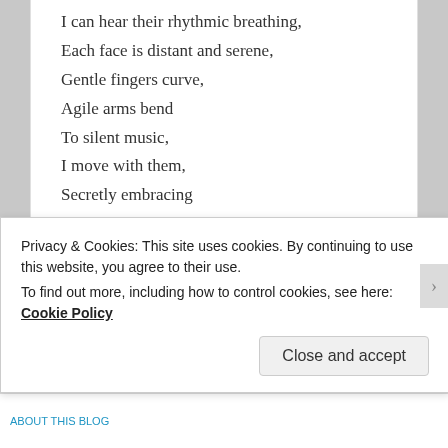I can hear their rhythmic breathing,
Each face is distant and serene,
Gentle fingers curve,
Agile arms bend
To silent music,
I move with them,
Secretly embracing
Their quiet strength.
★ Like
Reply ↓
maifoil
Privacy & Cookies: This site uses cookies. By continuing to use this website, you agree to their use.
To find out more, including how to control cookies, see here: Cookie Policy
Close and accept